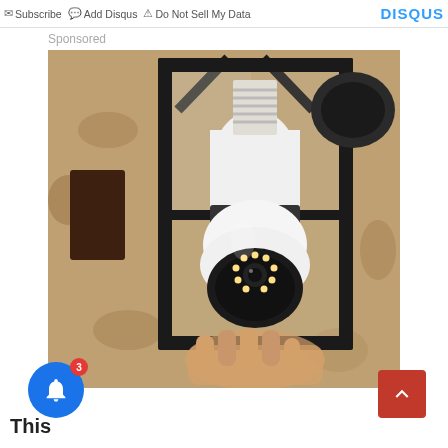Subscribe  Add Disqus  Do Not Sell My Data    DISQUS
Sponsored
[Figure (photo): A white security camera shaped like a light bulb installed inside a black outdoor wall lantern fixture mounted on a textured stone/stucco wall. A hand is visible holding/installing the device.]
This